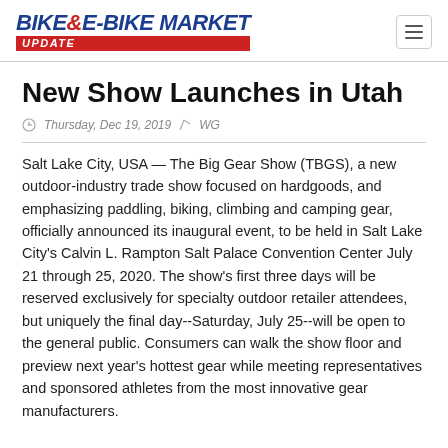BIKE & E-BIKE MARKET UPDATE
New Show Launches in Utah
Thursday, Dec 19, 2019  WG
Salt Lake City, USA — The Big Gear Show (TBGS), a new outdoor-industry trade show focused on hardgoods, and emphasizing paddling, biking, climbing and camping gear, officially announced its inaugural event, to be held in Salt Lake City's Calvin L. Rampton Salt Palace Convention Center July 21 through 25, 2020. The show's first three days will be reserved exclusively for specialty outdoor retailer attendees, but uniquely the final day--Saturday, July 25--will be open to the general public. Consumers can walk the show floor and preview next year's hottest gear while meeting representatives and sponsored athletes from the most innovative gear manufacturers.